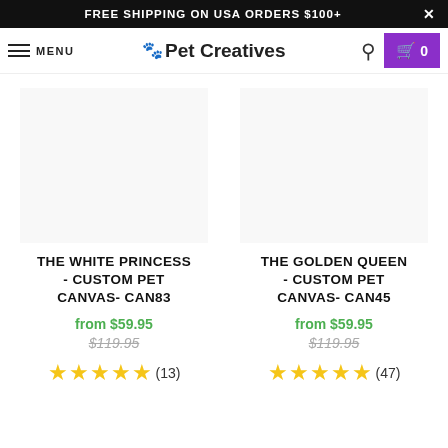FREE SHIPPING ON USA ORDERS $100+
Pet Creatives — navigation bar with MENU, logo, search, cart (0)
THE WHITE PRINCESS - CUSTOM PET CANVAS- CAN83
from $59.95
$119.95
(13)
THE GOLDEN QUEEN - CUSTOM PET CANVAS- CAN45
from $59.95
$119.95
(47)